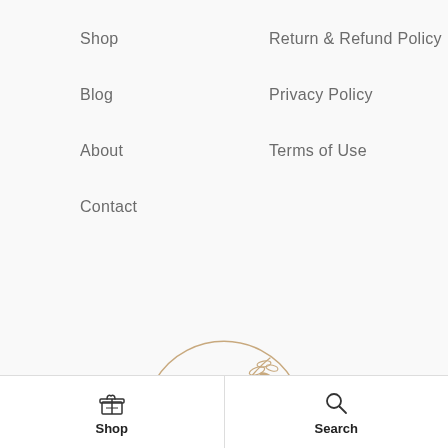Shop
Blog
About
Contact
Return & Refund Policy
Privacy Policy
Terms of Use
[Figure (logo): Milestone Post logo — circular line frame with botanical leaf branch decoration, script text 'Milestone' and sans-serif 'POST' below, in warm brown/tan color]
Shop | Search